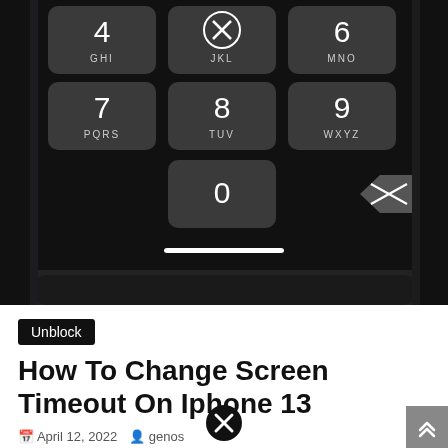[Figure (screenshot): iPhone numeric keypad showing keys 4 (GHI), 5 with X in circle (JKL), 6 (MNO), 7 (PQRS), 8 (TUV), 9 (WXYZ), 0, and backspace button on dark background phone frame]
Unblock
How To Change Screen Timeout On Iphone 13
April 12, 2022   genos